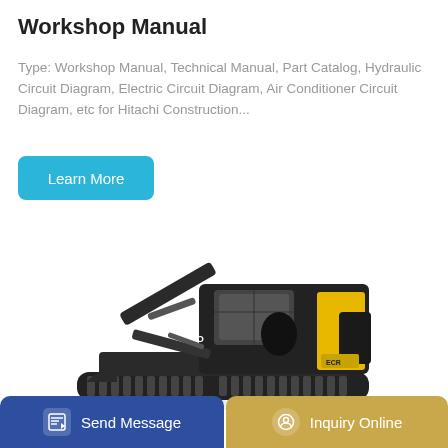Workshop Manual
Type: Workshop Manual, Technical Manual, Part Catalog, Hydraulic Circuit Diagram, Electric Circuit Diagram, Air Conditioner Circuit Diagram, etc for Hitachi Construction...
Learn More
[Figure (photo): Volvo mini excavator / compact excavator with black and yellow paint scheme, shown in side profile on white background]
Send Message
Inquiry Online